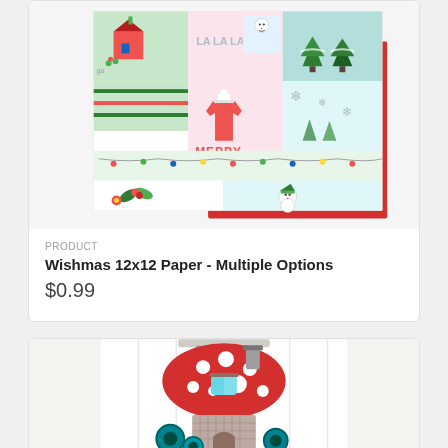[Figure (photo): Christmas/holiday themed 12x12 scrapbook paper showing colorful patchwork squares with festive illustrations: LA LA LA text, MERRY text, sweater, snowman, Christmas trees, lights garland, holly. Red solid sheet underneath/behind.]
PRODUCT
Wishmas 12x12 Paper - Multiple Options
$0.99
[Figure (photo): Craft/paper die-cut mushroom house figure mounted on white paneled background. Red polka-dot mushroom cap roof with grey chimney, teal/grey body with patterned base, decorative wheels/circles in teal.]